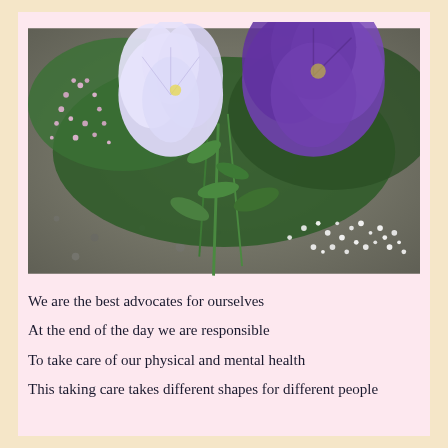[Figure (photo): A photograph of purple, lavender, and white flowers including petunias and small alyssum flowers with green foliage on a gravel/stone background.]
We are the best advocates for ourselves
At the end of the day we are responsible
To take care of our physical and mental health
This taking care takes different shapes for different people